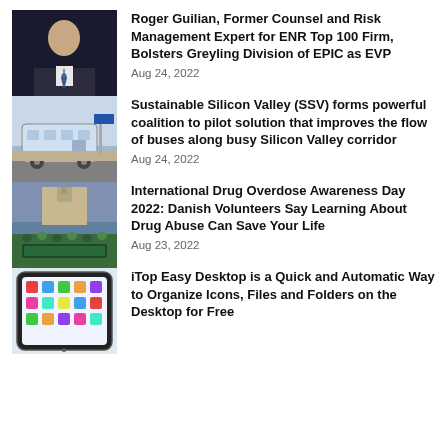[Figure (photo): Headshot of a man in a suit with a blue striped tie against a dark background]
Roger Guilian, Former Counsel and Risk Management Expert for ENR Top 100 Firm, Bolsters Greyling Division of EPIC as EVP
Aug 24, 2022
[Figure (photo): A bus parked at a transit stop in a city street]
Sustainable Silicon Valley (SSV) forms powerful coalition to pilot solution that improves the flow of buses along busy Silicon Valley corridor
Aug 24, 2022
[Figure (photo): Crowd of people in green and yellow at a public event near a large building]
International Drug Overdose Awareness Day 2022: Danish Volunteers Say Learning About Drug Abuse Can Save Your Life
Aug 23, 2022
[Figure (screenshot): Screenshot of a desktop organizer application showing app icons on a tablet screen]
iTop Easy Desktop is a Quick and Automatic Way to Organize Icons, Files and Folders on the Desktop for Free